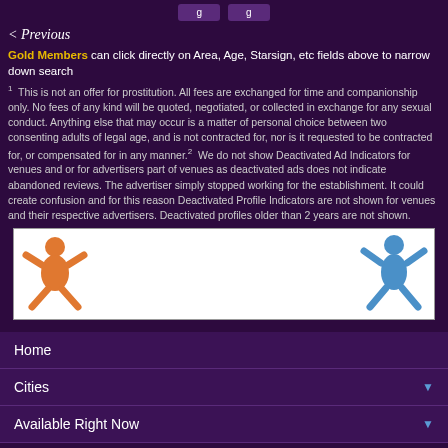< Previous
Gold Members can click directly on Area, Age, Starsign, etc fields above to narrow down search
1 This is not an offer for prostitution. All fees are exchanged for time and companionship only. No fees of any kind will be quoted, negotiated, or collected in exchange for any sexual conduct. Anything else that may occur is a matter of personal choice between two consenting adults of legal age, and is not contracted for, nor is it requested to be contracted for, or compensated for in any manner. 2 We do not show Deactivated Ad Indicators for venues and or for advertisers part of venues as deactivated ads does not indicate abandoned reviews. The advertiser simply stopped working for the establishment. It could create confusion and for this reason Deactivated Profile Indicators are not shown for venues and their respective advertisers. Deactivated profiles older than 2 years are not shown.
[Figure (illustration): Banner with orange star-person figure on left and blue star-person figure on right on white background]
Home
Cities
Available Right Now